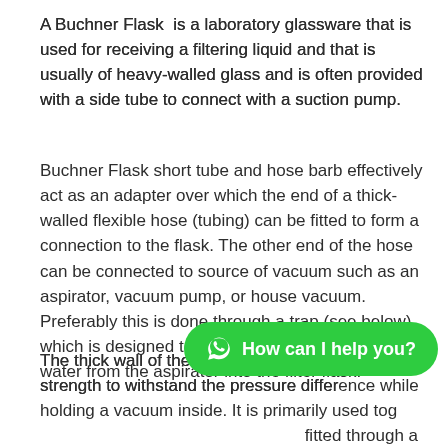A Buchner Flask is a laboratory glassware that is used for receiving a filtering liquid and that is usually of heavy-walled glass and is often provided with a side tube to connect with a suction pump.
Buchner Flask short tube and hose barb effectively act as an adapter over which the end of a thick-walled flexible hose (tubing) can be fitted to form a connection to the flask. The other end of the hose can be connected to source of vacuum such as an aspirator, vacuum pump, or house vacuum. Preferably this is done through a trap (see below), which is designed to prevent the sucking back of water from the aspirator into the filter flask.
The thick wall of the filter flask provides it the strength to withstand the pressure difference while holding a vacuum inside. It is primarily used tog fitted through a drilled rubber bung or an elastomer
[Figure (other): Green rounded chat button with WhatsApp icon and text 'How can I help you?']